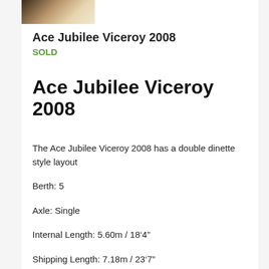[Figure (photo): Thumbnail photo of the Ace Jubilee Viceroy 2008 caravan, partially visible at top left]
Ace Jubilee Viceroy 2008
SOLD
Ace Jubilee Viceroy 2008
The Ace Jubilee Viceroy 2008 has a double dinette style layout
Berth: 5
Axle: Single
Internal Length: 5.60m / 18‘4”
Shipping Length: 7.18m / 23‘7”